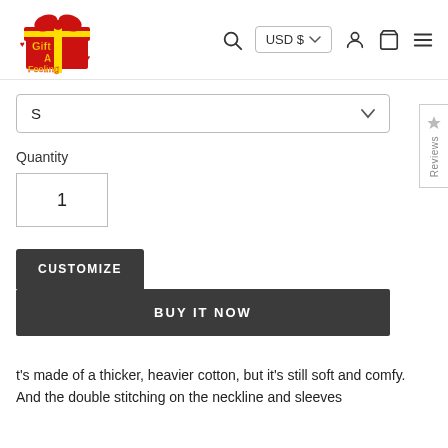[Figure (logo): Gift A Feeling logo — cartoon gift box with bow, red and yellow text]
USD $ ∨
S
Reviews
Quantity
1
CUSTOMIZE
BUY IT NOW
t's made of a thicker, heavier cotton, but it's still soft and comfy. And the double stitching on the neckline and sleeves